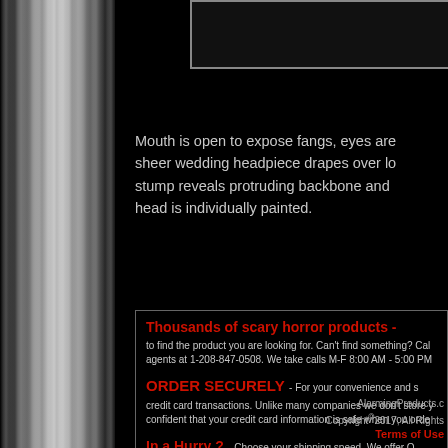[Figure (photo): Partial product image placeholder at top right]
Mouth is open to expose fangs, eyes are sheer wedding headpiece drapes over lo stump reveals protruding backbone and head is individually painted.
Thousands of scary horror products - to find the product you are looking for. Can't find something? Call agents at 1-208-847-0508. We take calls M-F 8:00 AM - 5:00 PM
ORDER SECURELY - For your convenience and s credit card transactions. Unlike many companies we don't store y confident that your credit card information is safe when you orde
In a Hurry ? - Choose your shipping speed. We offer O methods to most locations. We also ship priority mail to APO box
AlarmingProducts.c Copyright©2017, All Rights Terms of Use